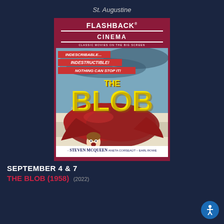St. Augustine
[Figure (illustration): Flashback Cinema movie poster for The Blob (1958). Red and white Flashback Cinema logo at top. Movie poster showing text: INDESCRIBABLE... INDESTRUCTIBLE! NOTHING CAN STOP IT! with large yellow THE BLOB title text, red blob creature consuming people, storm background. Credits: Steven McQueen, Aneta Corseaut, Earl Rowe.]
SEPTEMBER 4 & 7
THE BLOB (1958) (2022)